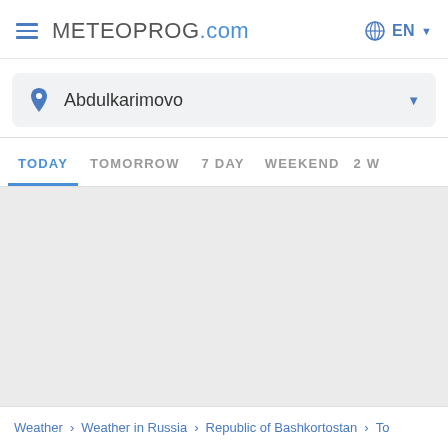METEOPROG.com  EN
Abdulkarimovo
TODAY  TOMORROW  7 DAY  WEEKEND  2 W
Weather > Weather in Russia > Republic of Bashkortostan > To